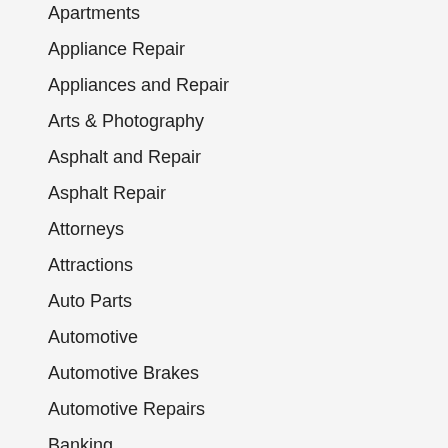Apartments
Appliance Repair
Appliances and Repair
Arts & Photography
Asphalt and Repair
Asphalt Repair
Attorneys
Attractions
Auto Parts
Automotive
Automotive Brakes
Automotive Repairs
Banking
Banking
Basements
Bathrooms